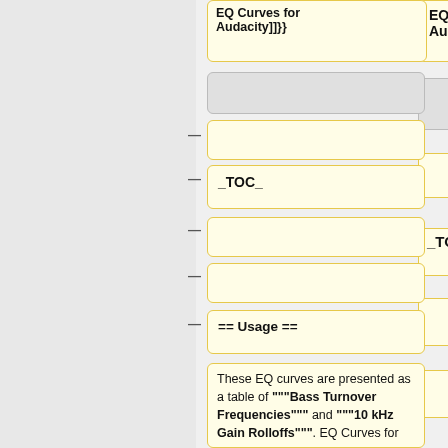EQ Curves for Audacity]]}}
_TOC_
== Usage ==
These EQ curves are presented as a table of """Bass Turnover Frequencies""" and """10 kHz Gain Rolloffs""". EQ Curves for Audacity can be generated from these Frequency and Rolloff values